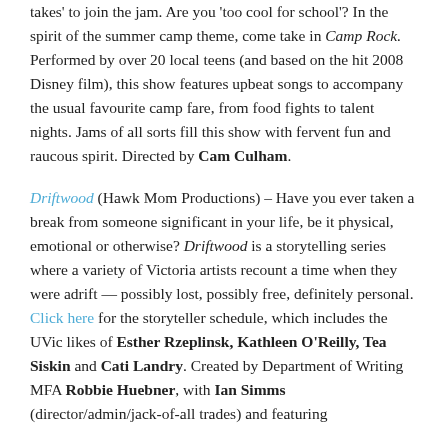takes' to join the jam. Are you 'too cool for school'? In the spirit of the summer camp theme, come take in Camp Rock. Performed by over 20 local teens (and based on the hit 2008 Disney film), this show features upbeat songs to accompany the usual favourite camp fare, from food fights to talent nights. Jams of all sorts fill this show with fervent fun and raucous spirit. Directed by Cam Culham.
Driftwood (Hawk Mom Productions) – Have you ever taken a break from someone significant in your life, be it physical, emotional or otherwise? Driftwood is a storytelling series where a variety of Victoria artists recount a time when they were adrift — possibly lost, possibly free, definitely personal. Click here for the storyteller schedule, which includes the UVic likes of Esther Rzeplinsk, Kathleen O'Reilly, Tea Siskin and Cati Landry. Created by Department of Writing MFA Robbie Huebner, with Ian Simms (director/admin/jack-of-all trades) and featuring